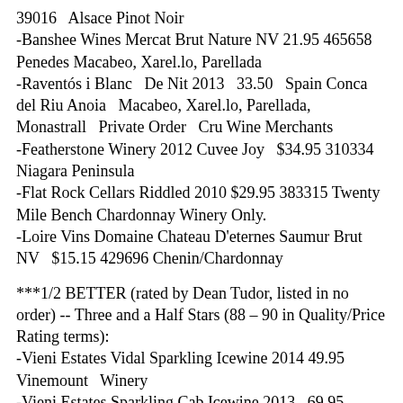39016   Alsace Pinot Noir
-Banshee Wines Mercat Brut Nature NV 21.95 465658 Penedes Macabeo, Xarel.lo, Parellada
-Raventós i Blanc   De Nit 2013   33.50   Spain Conca del Riu Anoia   Macabeo, Xarel.lo, Parellada, Monastrall   Private Order   Cru Wine Merchants
-Featherstone Winery 2012 Cuvee Joy   $34.95 310334 Niagara Peninsula
-Flat Rock Cellars Riddled 2010 $29.95 383315 Twenty Mile Bench Chardonnay Winery Only.
-Loire Vins Domaine Chateau D'eternes Saumur Brut NV   $15.15 429696 Chenin/Chardonnay
***1/2 BETTER (rated by Dean Tudor, listed in no order) -- Three and a Half Stars (88 – 90 in Quality/Price Rating terms):
-Vieni Estates Vidal Sparkling Icewine 2014 49.95 Vinemount   Winery
-Vieni Estates Sparkling Cab Icewine 2013   69.95